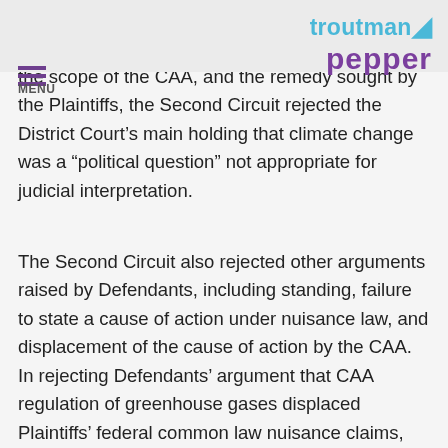troutman pepper [logo]
“public nuisance” and could proceed with their lawsuit to address climate change. After reviewing the scope of the CAA, and the remedy sought by the Plaintiffs, the Second Circuit rejected the District Court’s main holding that climate change was a “political question” not appropriate for judicial interpretation.
The Second Circuit also rejected other arguments raised by Defendants, including standing, failure to state a cause of action under nuisance law, and displacement of the cause of action by the CAA. In rejecting Defendants’ argument that CAA regulation of greenhouse gases displaced Plaintiffs’ federal common law nuisance claims, the Court relied on the fact that EPA has not yet regulated but has only made